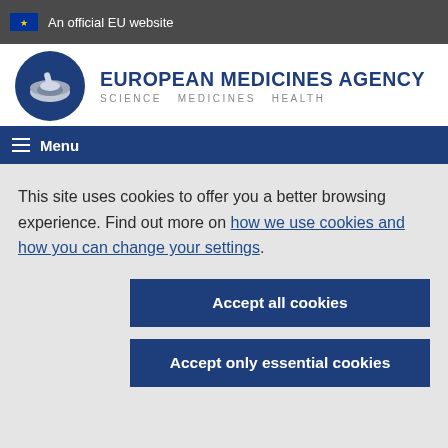An official EU website
[Figure (logo): European Medicines Agency logo — circular blue emblem with stylized bowl/mortar and pestle graphic, followed by text: EUROPEAN MEDICINES AGENCY / SCIENCE MEDICINES HEALTH]
Menu
This site uses cookies to offer you a better browsing experience. Find out more on how we use cookies and how you can change your settings.
Accept all cookies
Accept only essential cookies